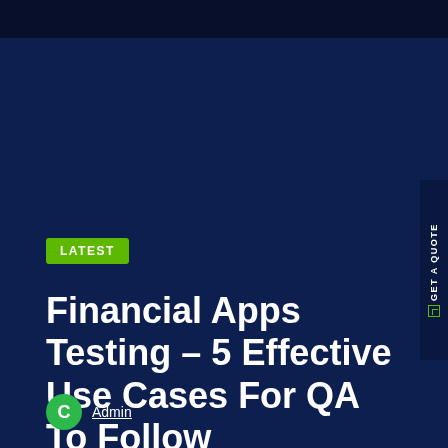LATEST
Financial Apps Testing – 5 Effective Use Cases For QA To Follow
Admin